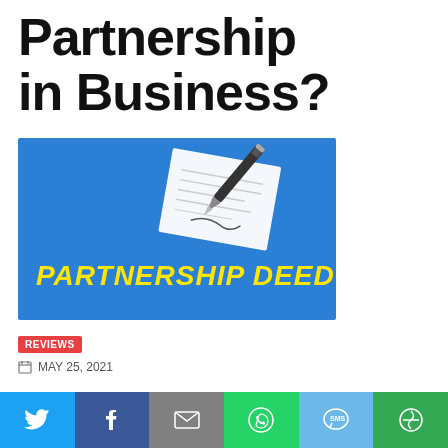Partnership in Business?
[Figure (illustration): Blue banner image with text 'PARTNERSHIP DEED' in bold yellow italic letters, and a document with a pen/signing illustration in the upper right area.]
REVIEWS
MAY 25, 2021
A partnership is a legal document that governs how property is to be divided